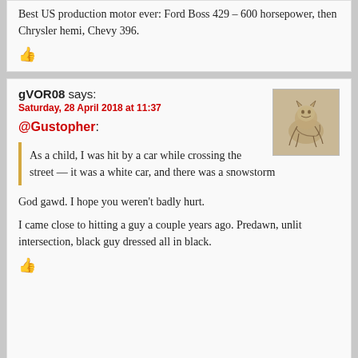Best US production motor ever: Ford Boss 429 – 600 horsepower, then Chrysler hemi, Chevy 396.
👍
gVOR08 says:
Saturday, 28 April 2018 at 11:37
[Figure (photo): Avatar image of a crouching animal/cat figure, sepia-toned sketch]
@Gustopher:
As a child, I was hit by a car while crossing the street — it was a white car, and there was a snowstorm
God gawd. I hope you weren't badly hurt.
I came close to hitting a guy a couple years ago. Predawn, unlit intersection, black guy dressed all in black.
👍